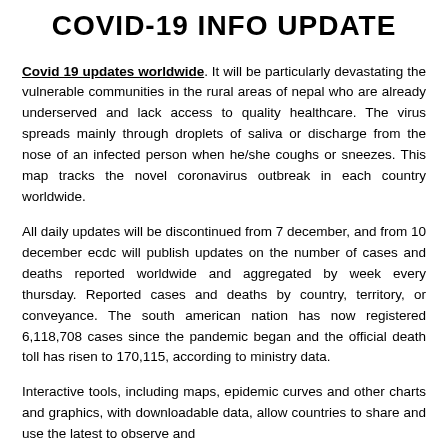COVID-19 INFO UPDATE
Covid 19 updates worldwide. It will be particularly devastating the vulnerable communities in the rural areas of nepal who are already underserved and lack access to quality healthcare. The virus spreads mainly through droplets of saliva or discharge from the nose of an infected person when he/she coughs or sneezes. This map tracks the novel coronavirus outbreak in each country worldwide.
All daily updates will be discontinued from 7 december, and from 10 december ecdc will publish updates on the number of cases and deaths reported worldwide and aggregated by week every thursday. Reported cases and deaths by country, territory, or conveyance. The south american nation has now registered 6,118,708 cases since the pandemic began and the official death toll has risen to 170,115, according to ministry data.
Interactive tools, including maps, epidemic curves and other charts and graphics, with downloadable data, allow countries to share and use the latest to observe and